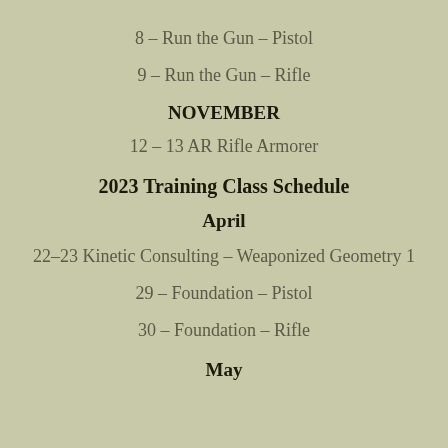8 – Run the Gun – Pistol
9 – Run the Gun – Rifle
NOVEMBER
12 – 13 AR Rifle Armorer
2023 Training Class Schedule
April
22–23 Kinetic Consulting – Weaponized Geometry 1
29 – Foundation – Pistol
30 – Foundation – Rifle
May